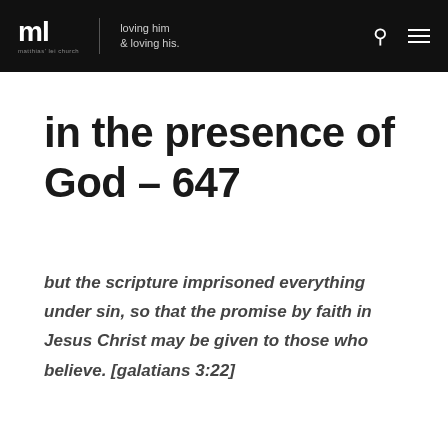ml | loving him & loving his. | matthias' lei church
in the presence of God – 647
but the scripture imprisoned everything under sin, so that the promise by faith in Jesus Christ may be given to those who believe. [galatians 3:22]